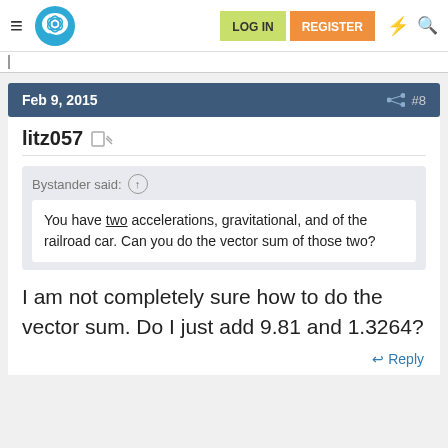LOG IN  REGISTER
Feb 9, 2015  #8
litz057
Bystander said: You have two accelerations, gravitational, and of the railroad car. Can you do the vector sum of those two?
I am not completely sure how to do the vector sum. Do I just add 9.81 and 1.3264?
Reply